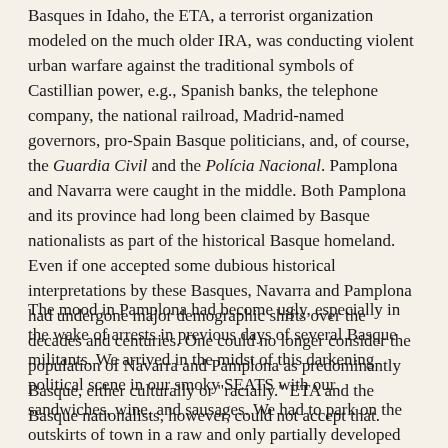Basques in Idaho, the ETA, a terrorist organization modeled on the much older IRA, was conducting violent urban warfare against the traditional symbols of Castillian power, e.g., Spanish banks, the telephone company, the national railroad, Madrid-named governors, pro-Spain Basque politicians, and, of course, the Guardia Civil and the Polícia Nacional. Pamplona and Navarra were caught in the middle. Both Pamplona and its province had long been claimed by Basque nationalists as part of the historical Basque homeland. Even if one accepted some dubious historical interpretations by these Basques, Navarra and Pamplona had undergone major demographic shifts over the decades and centuries. One could no longer consider the population of Navarra and Pamplona as predominantly Basque, either culturally or "racially." ETA and the Basque nationalists, however, could not accept that.
The mood in Pamplona had become ugly, especially in the wake of arrests in previous days of several Basque militants. We arrived in the midst of this darkening political scene in our smoky SEATS with our sandwiches, wine, and sausages. We had to park on the outskirts of town in a raw and only partially developed industrial area. We, however, were young, and away from parents, so a bit of